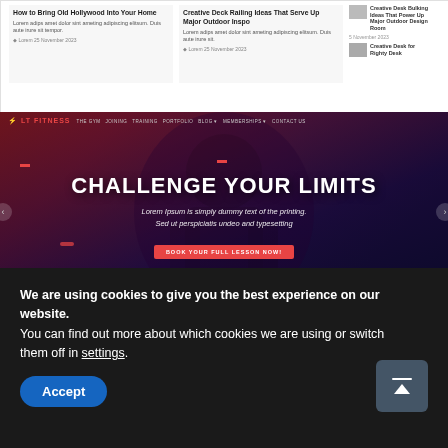[Figure (screenshot): Top portion of a website showing blog article cards in a row. Left two cards have article titles 'How to Bring Old Hollywood Into Your Home' and 'Creative Deck Railing Ideas That Serve Up Major Outdoor Inspo', with small preview text and metadata. Right side shows a sidebar column with thumbnail images and text for related articles.]
[Figure (screenshot): LT Fitness website hero banner screenshot. Dark blue/red gym-themed banner with navigation bar at top reading 'LT FITNESS' logo and nav links. Large bold white uppercase text reads 'CHALLENGE YOUR LIMITS'. Italic subtitle reads 'Lorem Ipsum is simply dummy text of the printing. Sed ut perspiciatis undeo and typesetting'. Red button below reads 'BOOK YOUR FULL LESSON NOW!'. Carousel left/right arrows visible on sides. Background features dark athletic figure photo with red/dark purple overlay.]
We are using cookies to give you the best experience on our website.
You can find out more about which cookies we are using or switch them off in settings.
Accept